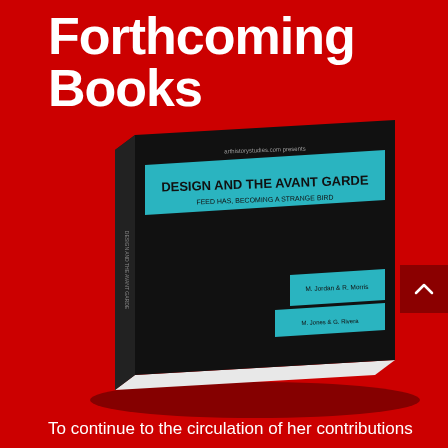Forthcoming Books
[Figure (photo): A black book titled 'Design and the Avant Garde' with teal/cyan accent bands on the cover, shown at an angle on a red background. The book cover includes small text indicating it is part of an art history/studies series.]
To continue to the circulation of her contributions